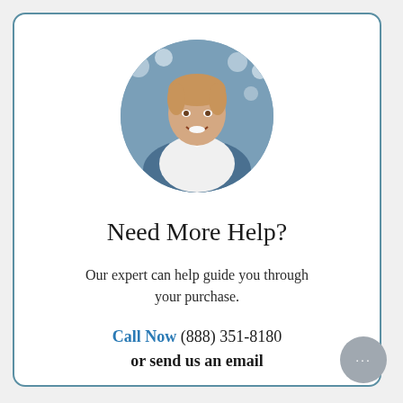[Figure (photo): Circular portrait photo of a young smiling man in a white shirt, standing in front of shelves with rolls of fabric or supplies]
Need More Help?
Our expert can help guide you through your purchase.
Call Now (888) 351-8180
or send us an email